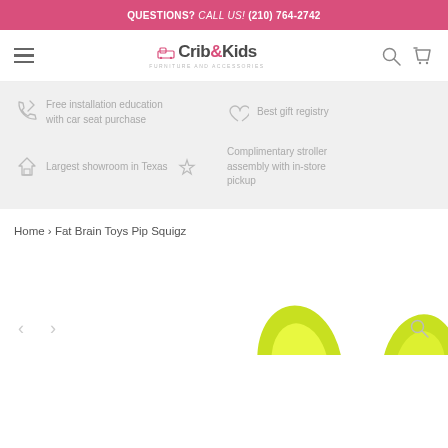QUESTIONS? CALL US! (210) 764-2742
[Figure (logo): Crib & Kids Furniture and Accessories logo with hamburger menu, search icon, and cart icon in navigation bar]
Free installation education with car seat purchase
Best gift registry
Largest showroom in Texas
Complimentary stroller assembly with in-store pickup
Home › Fat Brain Toys Pip Squigz
[Figure (photo): Product photo showing yellow/green Pip Squigz toys, partially visible at bottom of page]